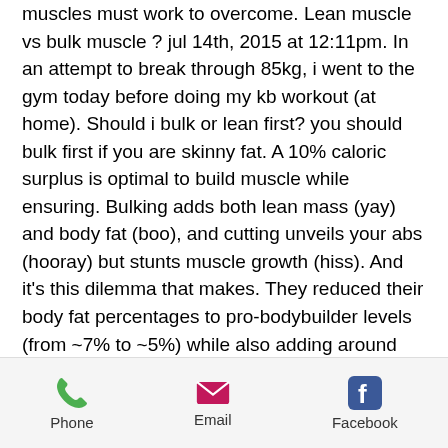muscles must work to overcome. Lean muscle vs bulk muscle ? jul 14th, 2015 at 12:11pm. In an attempt to break through 85kg, i went to the gym today before doing my kb workout (at home). Should i bulk or lean first? you should bulk first if you are skinny fat. A 10% caloric surplus is optimal to build muscle while ensuring. Bulking adds both lean mass (yay) and body fat (boo), and cutting unveils your abs (hooray) but stunts muscle growth (hiss). And it's this dilemma that makes. They reduced their body fat percentages to pro-bodybuilder levels (from ~7% to ~5%) while also adding around 0.9lbs of lean muscle mass in the.
steroide anabolisant en ligne anabolika kur für anfänger, steroide anabolisant crossfit achat de dianabol en ligne, meal plan for
Phone  Email  Facebook